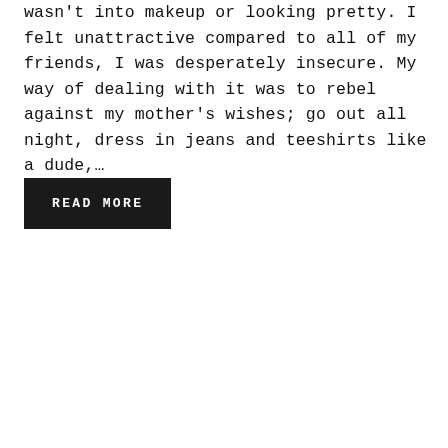wasn't into makeup or looking pretty. I felt unattractive compared to all of my friends, I was desperately insecure. My way of dealing with it was to rebel against my mother's wishes; go out all night, dress in jeans and teeshirts like a dude,…
READ MORE